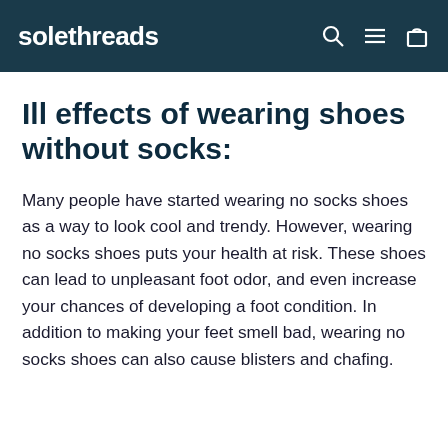solethreads
Ill effects of wearing shoes without socks:
Many people have started wearing no socks shoes as a way to look cool and trendy. However, wearing no socks shoes puts your health at risk. These shoes can lead to unpleasant foot odor, and even increase your chances of developing a foot condition. In addition to making your feet smell bad, wearing no socks shoes can also cause blisters and chafing.